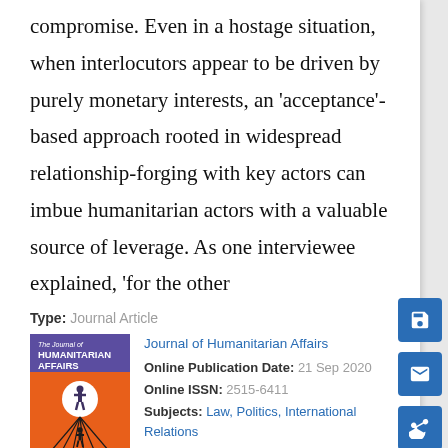compromise. Even in a hostage situation, when interlocutors appear to be driven by purely monetary interests, an 'acceptance'-based approach rooted in widespread relationship-forging with key actors can imbue humanitarian actors with a valuable source of leverage. As one interviewee explained, 'for the other
Type: Journal Article
[Figure (illustration): Cover of The Journal of Humanitarian Affairs showing a stylized figure against an orange and purple background with converging lines]
Journal of Humanitarian Affairs
Online Publication Date: 21 Sep 2020
Online ISSN: 2515-6411
Subjects: Law, Politics, International Relations